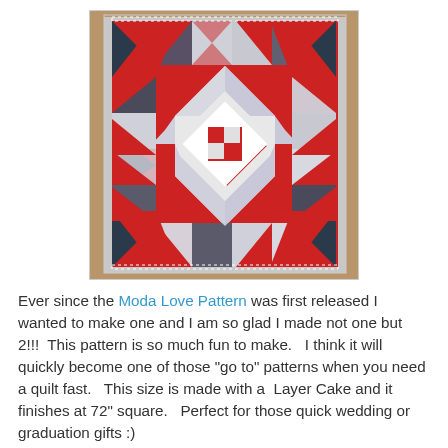[Figure (photo): A red, white, and dark navy/grey geometric star quilt hanging on a wooden frame. The quilt features a large eight-pointed star pattern made of triangles and squares in red, white/light grey, and dark navy/charcoal fabrics including some patterned prints.]
Ever since the Moda Love Pattern was first released I wanted to make one and I am so glad I made not one but 2!!!  This pattern is so much fun to make.   I think it will quickly become one of those "go to" patterns when you need a quilt fast.   This size is made with a  Layer Cake and it finishes at 72" square.   Perfect for those quick wedding or graduation gifts :)